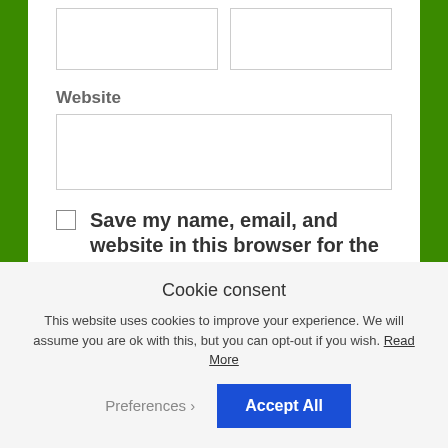Website
[Figure (screenshot): Two empty half-width text input boxes side by side at the top of the page]
[Figure (screenshot): Full-width empty text input box for Website field]
Save my name, email, and website in this browser for the next time I comment.
[Figure (screenshot): Orange 'Post Comment' button]
Cookie consent
This website uses cookies to improve your experience. We will assume you are ok with this, but you can opt-out if you wish. Read More
[Figure (screenshot): Preferences dropdown button and Accept All blue button]